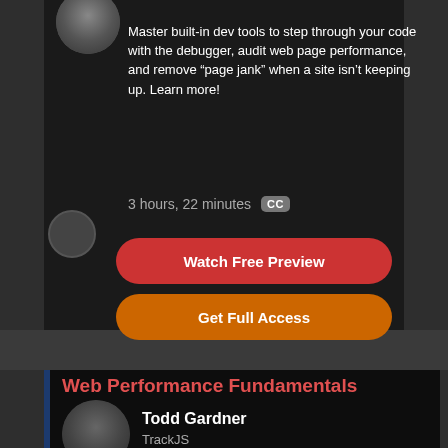Master built-in dev tools to step through your code with the debugger, audit web page performance, and remove “page jank” when a site isn’t keeping up. Learn more!
3 hours, 22 minutes CC
Watch Free Preview
Get Full Access
Web Performance Fundamentals
Todd Gardner
TrackJS